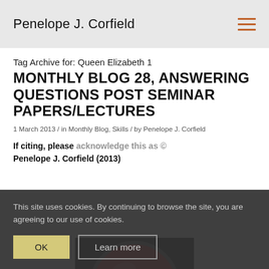Penelope J. Corfield
Tag Archive for: Queen Elizabeth 1
MONTHLY BLOG 28, ANSWERING QUESTIONS POST SEMINAR PAPERS/LECTURES
1 March 2013 / in Monthly Blog, Skills / by Penelope J. Corfield
If citing, please acknowledge this as © Penelope J. Corfield (2013)
[Figure (photo): Partial view of a red button on black background]
This site uses cookies. By continuing to browse the site, you are agreeing to our use of cookies.